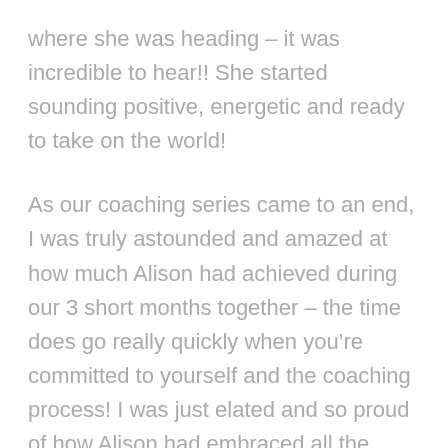where she was heading – it was incredible to hear!! She started sounding positive, energetic and ready to take on the world!
As our coaching series came to an end, I was truly astounded and amazed at how much Alison had achieved during our 3 short months together – the time does go really quickly when you're committed to yourself and the coaching process! I was just elated and so proud of how Alison had embraced all the challenging parts of coaching – looking inwards, understanding your own thought processes and then